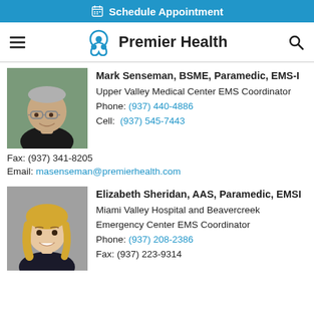Schedule Appointment
[Figure (logo): Premier Health logo with nav bar including hamburger menu and search icon]
Mark Senseman, BSME, Paramedic, EMS-I
Upper Valley Medical Center EMS Coordinator
Phone: (937) 440-4886
Cell: (937) 545-7443
Fax: (937) 341-8205
Email: masenseman@premierhealth.com
Elizabeth Sheridan, AAS, Paramedic, EMSI
Miami Valley Hospital and Beavercreek Emergency Center EMS Coordinator
Phone: (937) 208-2386
Fax: (937) 223-9314